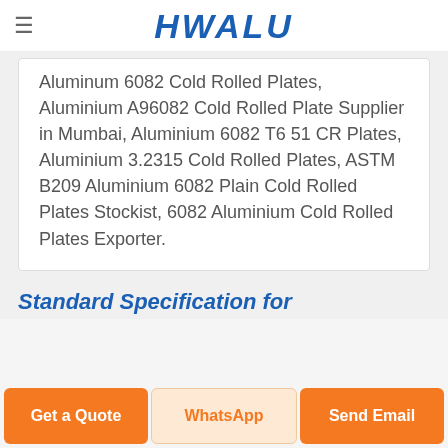HWALU
Aluminum 6082 Cold Rolled Plates, Aluminium A96082 Cold Rolled Plate Supplier in Mumbai, Aluminium 6082 T651 CR Plates, Aluminium 3.2315 Cold Rolled Plates, ASTM B209 Aluminium 6082 Plain Cold Rolled Plates Stockist, 6082 Aluminium Cold Rolled Plates Exporter.
Standard Specification for
Get a Quote
WhatsApp
Send Email